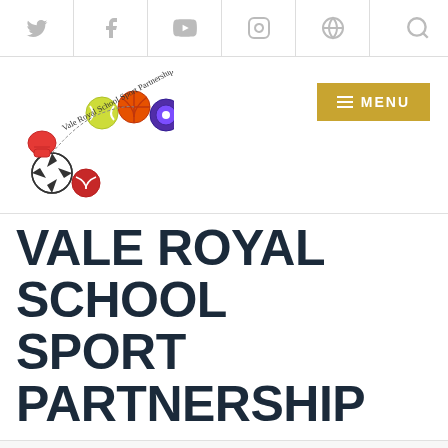Navigation bar with Twitter, Facebook, YouTube, Instagram, and other social icons, plus search icon
[Figure (logo): Vale Royal School Sport Partnership logo with sports balls (tennis, basketball, target/bullseye, soccer, boxing glove, cricket ball) arranged in an arc with handwritten-style text reading 'Vale Royal School Sport Partnership']
VALE ROYAL SCHOOL SPORT PARTNERSHIP
Professional Development